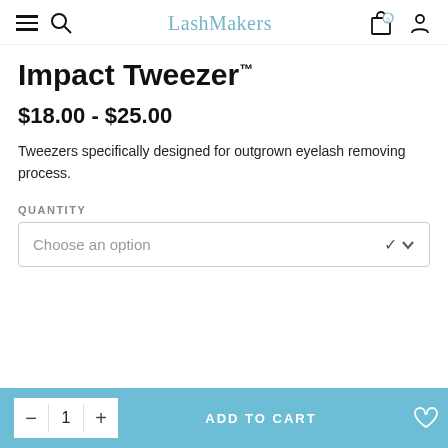LashMakers
Impact Tweezer™
$18.00 - $25.00
Tweezers specifically designed for outgrown eyelash removing process.
QUANTITY
Choose an option
ADD TO CART